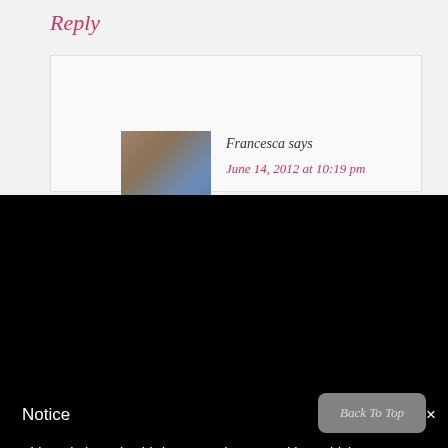Reply
Francesca says
June 14, 2012 at 10:19 pm
Notice
This website or its third-party tools use cookies, which are necessary to its functioning and required to achieve the purposes illustrated in the cookie policy. If you want to know more or withdraw your consent to all or some of the cookies, please refer to the cookie policy. By closing this banner, scrolling this page, clicking a link or continuing to browse otherwise, you agree to the
Back To Top